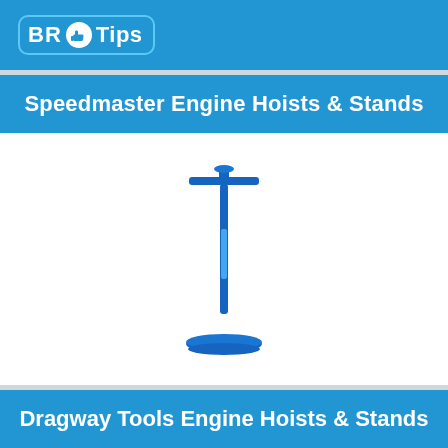[Figure (logo): BR Tips logo: blue rounded rectangle with BR text, thumbs-up icon, and Tips text in white]
Speedmaster Engine Hoists & Stands
[Figure (photo): A blue engine stand with a T-bar top handle, vertical pole, and circular base plate]
Dragway Tools Engine Hoists & Stands